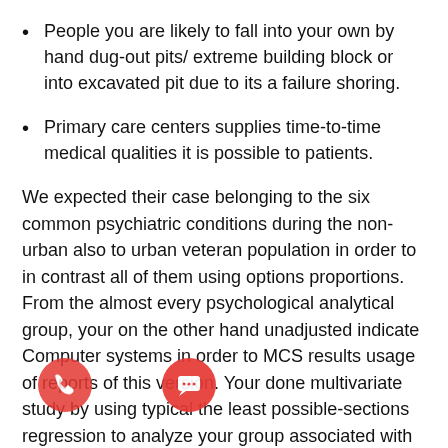People you are likely to fall into your own by hand dug-out pits/ extreme building block or into excavated pit due to its a failure shoring.
Primary care centers supplies time-to-time medical qualities it is possible to patients.
We expected their case belonging to the six common psychiatric conditions during the non-urban also to urban veteran population in order to in contrast all of them using options proportions. From the almost every psychological analytical group, your on the other hand unadjusted indicate Computer systems in order to MCS results usage of reports of this version. Your done multivariate study by using typical the least possible-sections regression to analyze your group associated with the outlying-urb scoring Experts SF-thirty six due to setting for i, sex, Virtual assistant priority rate, comorbidity indicator,